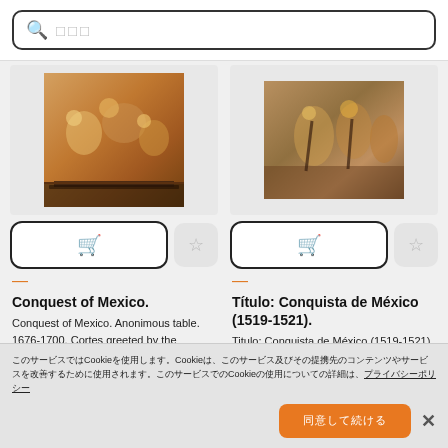[Figure (screenshot): Search bar with magnifying glass icon and placeholder text (three squares/Japanese characters)]
[Figure (photo): Painting: Conquest of Mexico, anonymous table 1676-1700, colorful historical scene]
[Figure (photo): Painting: Titulo Conquista de Mexico (1519-1521), historical battle scene]
Conquest of Mexico.
Conquest of Mexico. Anonimous table. 1676-1700. Cortes greeted by the Cacique Gordo in Zempoala....
Título: Conquista de México (1519-1521).
Titulo: Conquista de México (1519-1521). Detalle. La entrada del
このサービスではCookieを使用します。Cookieは、このサービス及びその提携先のコンテンツやサービスを改善するために使用されます。このサービスでのCookieの使用についての詳細は、 プライバシーポリシー
同意して続ける